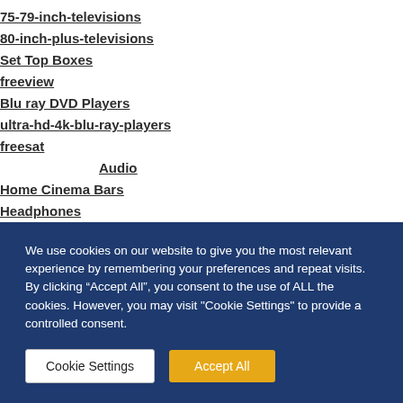75-79-inch-televisions
80-inch-plus-televisions
Set Top Boxes
freeview
Blu ray DVD Players
ultra-hd-4k-blu-ray-players
freesat
Audio
Home Cinema Bars
Headphones
Hi Fi Systems
We use cookies on our website to give you the most relevant experience by remembering your preferences and repeat visits. By clicking “Accept All”, you consent to the use of ALL the cookies. However, you may visit "Cookie Settings" to provide a controlled consent.
Cookie Settings  Accept All